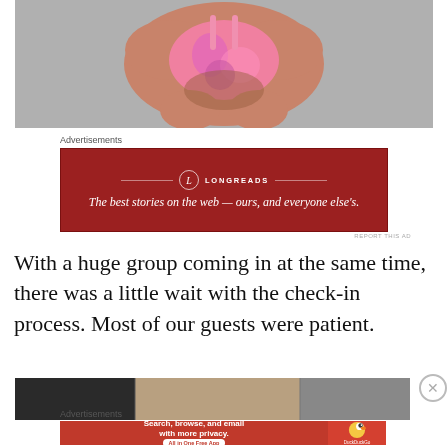[Figure (photo): Overhead view of a person crouching, wearing a pink floral swimsuit, on a stone/concrete surface]
Advertisements
[Figure (infographic): Longreads advertisement banner in dark red: 'The best stories on the web — ours, and everyone else's.']
With a huge group coming in at the same time, there was a little wait with the check-in process. Most of our guests were patient.
[Figure (photo): Partial bottom photo strip visible at page bottom]
Advertisements
[Figure (infographic): DuckDuckGo advertisement: 'Search, browse, and email with more privacy. All in One Free App' with DuckDuckGo logo]